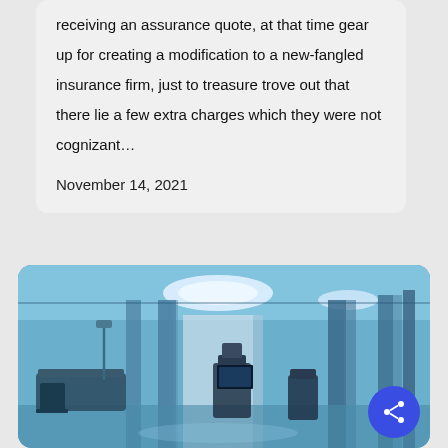receiving an assurance quote, at that time gear up for creating a modification to a new-fangled insurance firm, just to treasure trove out that there lie a few extra charges which they were not cognizant…
November 14, 2021
[Figure (photo): Interior of a hospital room with medical equipment, examination tables, curtain dividers, and blue-tinted lighting]